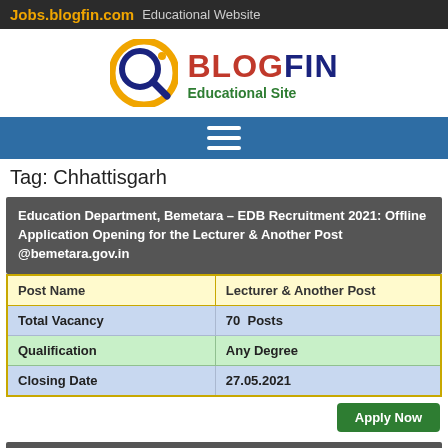Jobs.blogfin.com Educational Website
[Figure (logo): BLOGFIN Educational Site logo with circular magnifying glass icon in gold and dark blue]
[Figure (other): Navigation bar with hamburger menu icon (three horizontal white lines) on blue background]
Tag: Chhattisgarh
Education Department, Bemetara – EDB Recruitment 2021: Offline Application Opening for the Lecturer & Another Post @bemetara.gov.in
| Post Name | Lecturer & Another Post |
| --- | --- |
| Total Vacancy | 70  Posts |
| Qualification | Any Degree |
| Closing Date | 27.05.2021 |
Apply Now
Bastar District Recruitment 2021: Offline Application